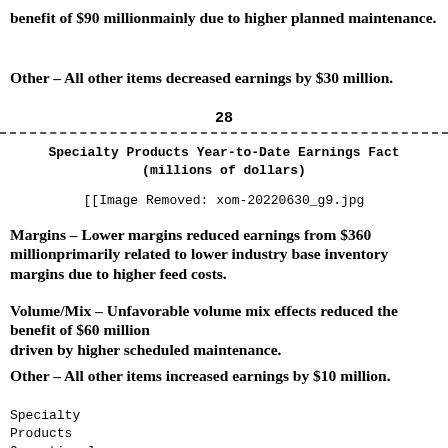benefit of $90 millionmainly due to higher planned maintenance.
Other – All other items decreased earnings by $30 million.
28
Specialty Products Year-to-Date Earnings Fact
(millions of dollars)
[Figure (other): [[Image Removed: xom-20220630_g9.jpg]]]
Margins – Lower margins reduced earnings from $360 millionprimarily related to lower industry base inventory margins due to higher feed costs.
Volume/Mix – Unfavorable volume mix effects reduced the benefit of $60 million
driven by higher scheduled maintenance.
Other – All other items increased earnings by $10 million.
Specialty
Products
Operational